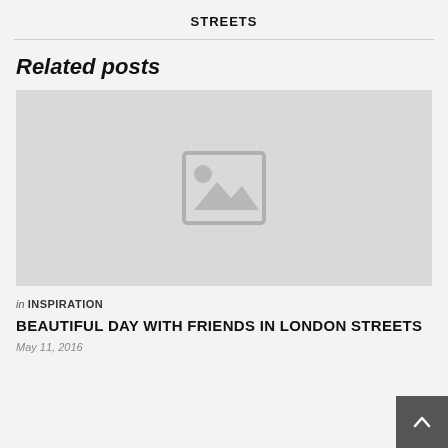STREETS
Related posts
[Figure (photo): Placeholder image with grey background and image icon]
in INSPIRATION
BEAUTIFUL DAY WITH FRIENDS IN LONDON STREETS
May 11, 2016